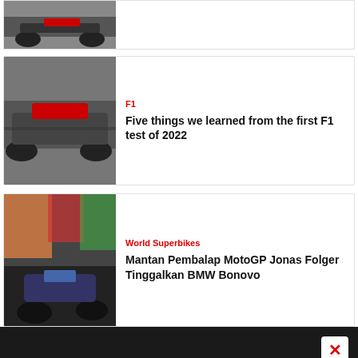[Figure (photo): Partial view of an F1 racing car, top of article card (cropped)]
[Figure (photo): Ferrari F1 car racing on track, side view with motion blur]
F1
Five things we learned from the first F1 test of 2022
[Figure (photo): Motorcycle racer leaning into a corner during World Superbikes race]
World Superbikes
Mantan Pembalap MotoGP Jonas Folger Tinggalkan BMW Bonovo
[Figure (photo): Advertisement banner: FOR ALL THINGS F1 - CRASH YouTube channel promotional ad]